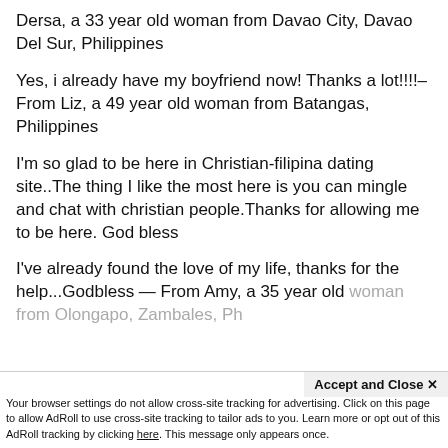Dersa, a 33 year old woman from Davao City, Davao Del Sur, Philippines
Yes, i already have my boyfriend now! Thanks a lot!!!!– From Liz, a 49 year old woman from Batangas, Philippines
I'm so glad to be here in Christian-filipina dating site..The thing I like the most here is you can mingle and chat with christian people.Thanks for allowing me to be here. God bless
I've already found the love of my life, thanks for the help...Godbless — From Amy, a 35 year old woman from Olongapo, Zambales, Philippines
Accept and Close ✕
Your browser settings do not allow cross-site tracking for advertising. Click on this page to allow AdRoll to use cross-site tracking to tailor ads to you. Learn more or opt out of this AdRoll tracking by clicking here. This message only appears once.